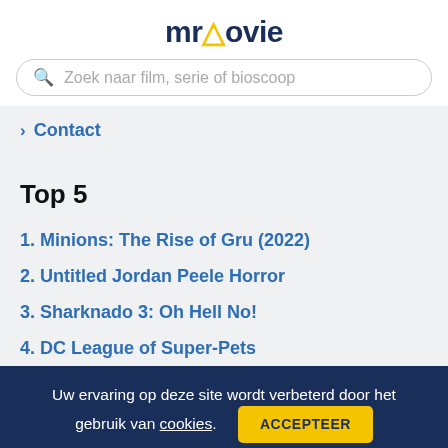mrMovie
Zoek naar film, serie of bioscoop
> Contact
Top 5
1. Minions: The Rise of Gru (2022)
2. Untitled Jordan Peele Horror
3. Sharknado 3: Oh Hell No!
4. DC League of Super-Pets
Uw ervaring op deze site wordt verbeterd door het gebruik van cookies. ACCEPTEER